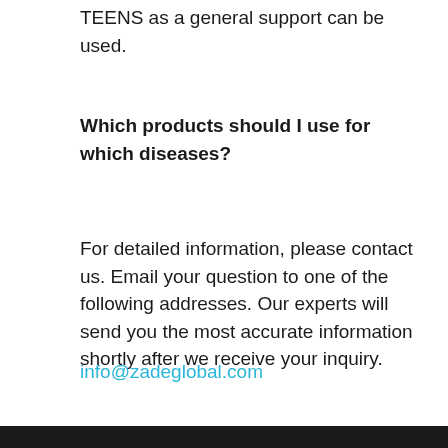TEENS as a general support can be used.
Which products should I use for which diseases?
For detailed information, please contact us. Email your question to one of the following addresses. Our experts will send you the most accurate information shortly after we receive your inquiry.
info@zadeglobal.com